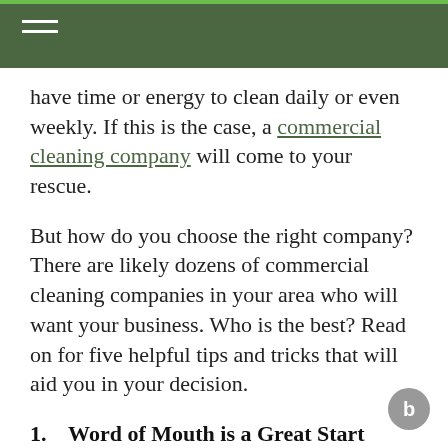have time or energy to clean daily or even weekly. If this is the case, a commercial cleaning company will come to your rescue.
But how do you choose the right company? There are likely dozens of commercial cleaning companies in your area who will want your business. Who is the best? Read on for five helpful tips and tricks that will aid you in your decision.
1.   Word of Mouth is a Great Start
A company can put whatever they want on their website. In fact, some shadier companies even buy fake reviews from writers and place them on their